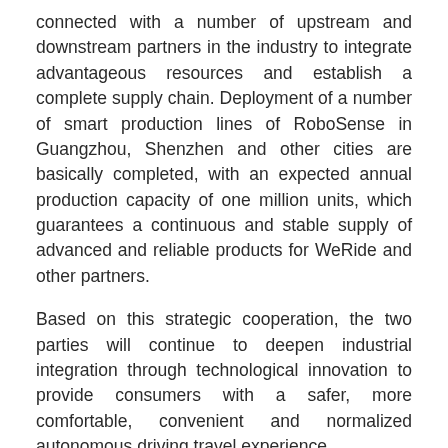connected with a number of upstream and downstream partners in the industry to integrate advantageous resources and establish a complete supply chain. Deployment of a number of smart production lines of RoboSense in Guangzhou, Shenzhen and other cities are basically completed, with an expected annual production capacity of one million units, which guarantees a continuous and stable supply of advanced and reliable products for WeRide and other partners.
Based on this strategic cooperation, the two parties will continue to deepen industrial integration through technological innovation to provide consumers with a safer, more comfortable, convenient and normalized autonomous driving travel experience.
About WeRide
WeRide is a leading, commercial-stage global company that develops Level 4 autonomous driving technologies. WeRide aims to develop safe and reliable driverless